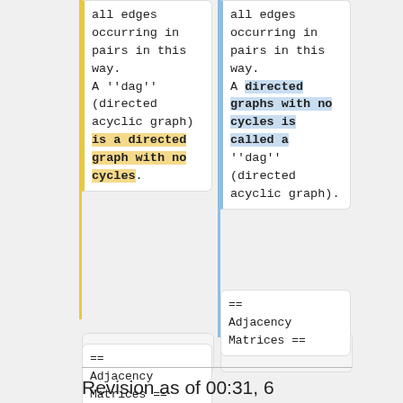all edges occurring in pairs in this way. A ''dag'' (directed acyclic graph) is a directed graph with no cycles.
all edges occurring in pairs in this way. A directed graphs with no cycles is called a ''dag'' (directed acyclic graph).
== Adjacency Matrices ==
== Adjacency Matrices ==
Revision as of 00:31, 6 September 2018